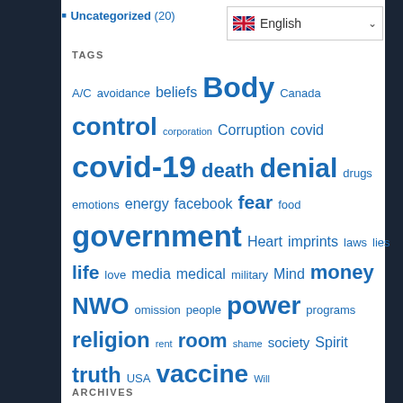Uncategorized (20)
[Figure (other): English language selector dropdown with UK flag]
TAGS
A/C avoidance beliefs Body Canada control corporation Corruption covid covid-19 death denial drugs emotions energy facebook fear food government Heart imprints laws lies life love media medical military Mind money NWO omission people power programs religion rent room shame society Spirit truth USA vaccine Will
ARCHIVES